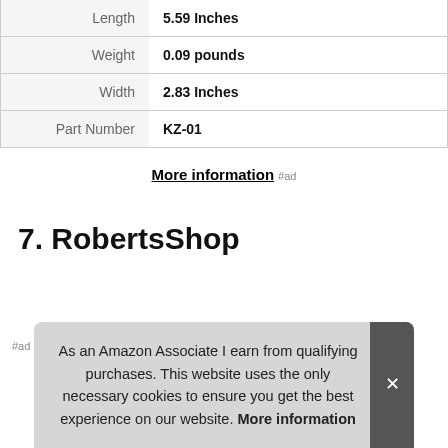| Length | 5.59 Inches |
| Weight | 0.09 pounds |
| Width | 2.83 Inches |
| Part Number | KZ-01 |
More information #ad
7. RobertsShop
As an Amazon Associate I earn from qualifying purchases. This website uses the only necessary cookies to ensure you get the best experience on our website. More information